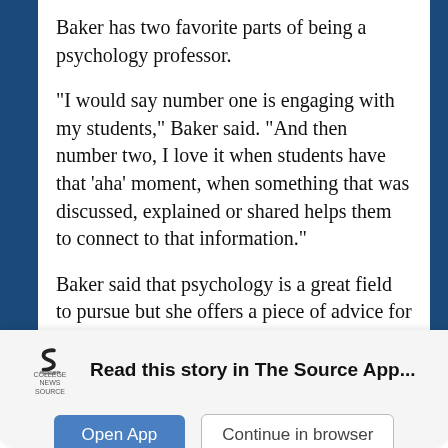Baker has two favorite parts of being a psychology professor.
“I would say number one is engaging with my students,” Baker said. “And then number two, I love it when students have that ‘aha’ moment, when something that was discussed, explained or shared helps them to connect to that information.”
Baker said that psychology is a great field to pursue but she offers a piece of advice for students going into the profession.
“Pursue your passion in psychology but also
[Figure (logo): College News Source logo - stylized S shape in dark color with text COLLEGE NEWS SOURCE below]
Read this story in The Source App...
Open App
Continue in browser